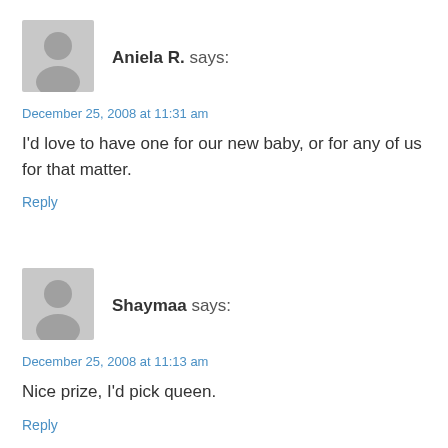[Figure (illustration): Gray avatar silhouette icon for user Aniela R.]
Aniela R. says:
December 25, 2008 at 11:31 am
I'd love to have one for our new baby, or for any of us for that matter.
Reply
[Figure (illustration): Gray avatar silhouette icon for user Shaymaa]
Shaymaa says:
December 25, 2008 at 11:13 am
Nice prize, I'd pick queen.
Reply